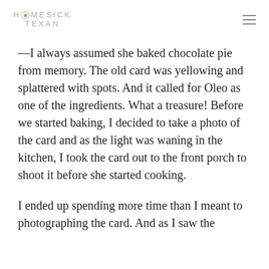HOMESICK TEXAN
—I always assumed she baked chocolate pie from memory. The old card was yellowing and splattered with spots. And it called for Oleo as one of the ingredients. What a treasure! Before we started baking, I decided to take a photo of the card and as the light was waning in the kitchen, I took the card out to the front porch to shoot it before she started cooking.
I ended up spending more time than I meant to photographing the card. And as I saw the